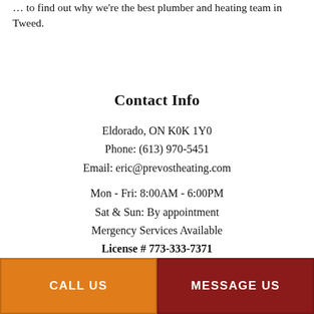… to find out why we're the best plumber and heating team in Tweed.
Contact Info
Eldorado, ON K0K 1Y0
Phone: (613) 970-5451
Email: eric@prevostheating.com
Mon - Fri: 8:00AM - 6:00PM
Sat & Sun: By appointment
Mergency Services Available
License # 773-333-7371
CALL US
MESSAGE US